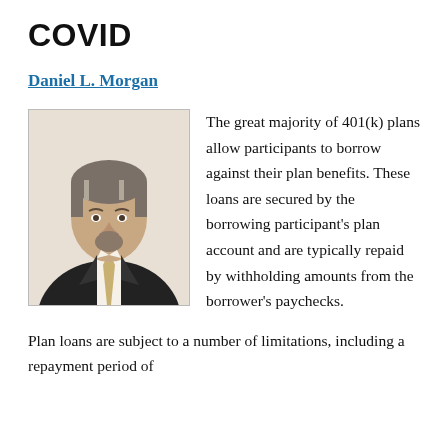COVID
Daniel L. Morgan
[Figure (photo): Professional headshot of Daniel L. Morgan, a middle-aged man with gray-streaked hair and beard, wearing a dark suit and light tie, smiling.]
The great majority of 401(k) plans allow participants to borrow against their plan benefits. These loans are secured by the borrowing participant's plan account and are typically repaid by withholding amounts from the borrower's paychecks.
Plan loans are subject to a number of limitations, including a repayment period of